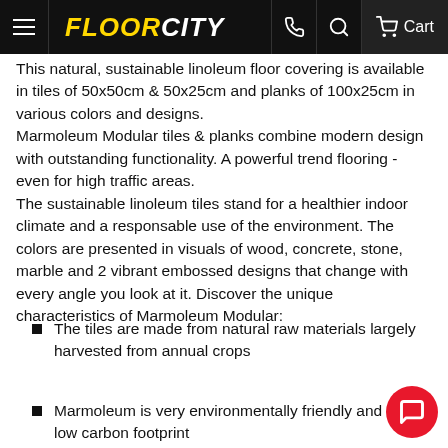FLOORCITY
This natural, sustainable linoleum floor covering is available in tiles of 50x50cm & 50x25cm and planks of 100x25cm in various colors and designs. Marmoleum Modular tiles & planks combine modern design with outstanding functionality. A powerful trend flooring - even for high traffic areas. The sustainable linoleum tiles stand for a healthier indoor climate and a responsable use of the environment. The colors are presented in visuals of wood, concrete, stone, marble and 2 vibrant embossed designs that change with every angle you look at it. Discover the unique characteristics of Marmoleum Modular:
The tiles are made from natural raw materials largely harvested from annual crops
Marmoleum is very environmentally friendly and has low carbon footprint